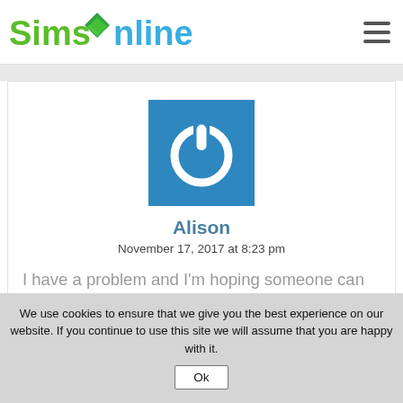[Figure (logo): SimsOnline website logo with green 'Sims', teal diamond/leaf shape, and blue 'nline' text]
Alison
November 17, 2017 at 8:23 pm
I have a problem and I'm hoping someone can help... I entered all the codes for the cheats I want and it says
We use cookies to ensure that we give you the best experience on our website. If you continue to use this site we will assume that you are happy with it.